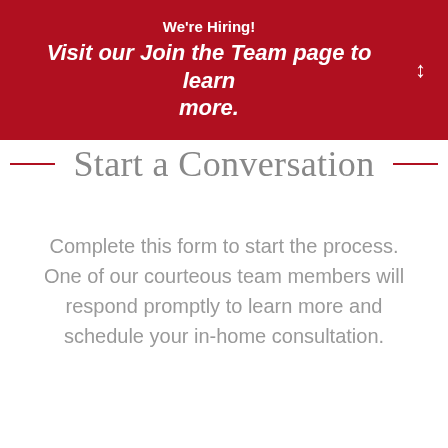We're Hiring! Visit our Join the Team page to learn more.
Start a Conversation
Complete this form to start the process. One of our courteous team members will respond promptly to learn more and schedule your in-home consultation.